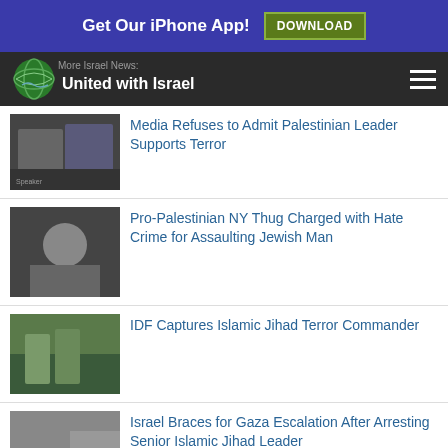Get Our iPhone App! DOWNLOAD
United with Israel
Media Refuses to Admit Palestinian Leader Supports Terror
Pro-Palestinian NY Thug Charged with Hate Crime for Assaulting Jewish Man
IDF Captures Islamic Jihad Terror Commander
Israel Braces for Gaza Escalation After Arresting Senior Islamic Jihad Leader
Sponsored Content